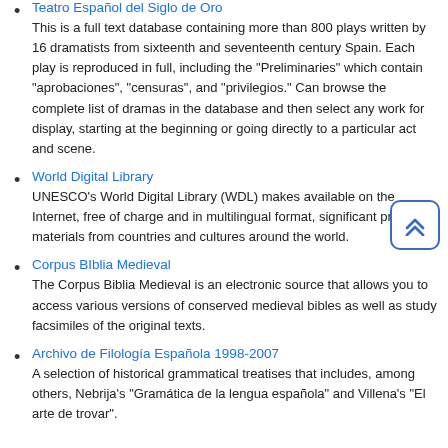Teatro Español del Siglo de Oro
This is a full text database containing more than 800 plays written by 16 dramatists from sixteenth and seventeenth century Spain. Each play is reproduced in full, including the "Preliminaries" which contain "aprobaciones", "censuras", and "privilegios." Can browse the complete list of dramas in the database and then select any work for display, starting at the beginning or going directly to a particular act and scene.
World Digital Library
UNESCO's World Digital Library (WDL) makes available on the Internet, free of charge and in multilingual format, significant primary materials from countries and cultures around the world.
Corpus BIblia Medieval
The Corpus Biblia Medieval is an electronic source that allows you to access various versions of conserved medieval bibles as well as study facsimiles of the original texts.
Archivo de Filología Española 1998-2007
A selection of historical grammatical treatises that includes, among others, Nebrija's "Gramática de la lengua española" and Villena's "El arte de trovar".